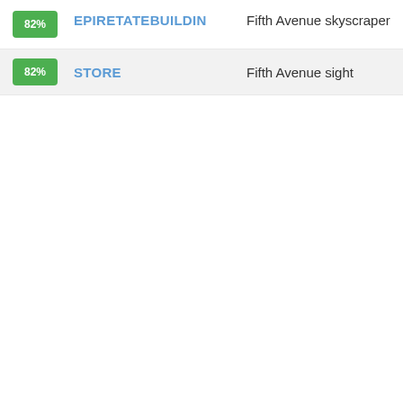82% EPIRETATEBUILDIN Fifth Avenue skyscraper
82% STORE Fifth Avenue sight